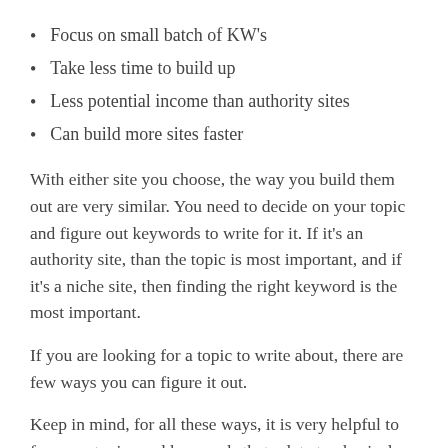Focus on small batch of KW's
Take less time to build up
Less potential income than authority sites
Can build more sites faster
With either site you choose, the way you build them out are very similar. You need to decide on your topic and figure out keywords to write for it. If it’s an authority site, than the topic is most important, and if it’s a niche site, then finding the right keyword is the most important.
If you are looking for a topic to write about, there are few ways you can figure it out.
Keep in mind, for all these ways, it is very helpful to focus on topics and keywords that relate to physical goods, so you can take advantage of being an Amazon Associate.